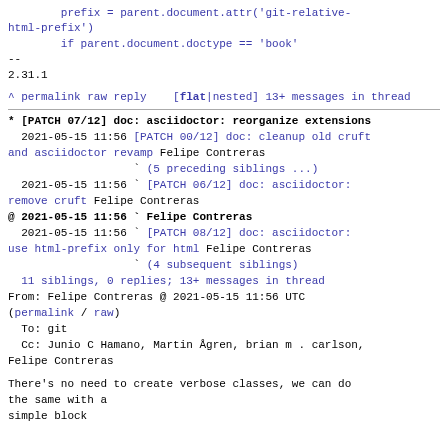prefix = parent.document.attr('git-relative-html-prefix')
        if parent.document.doctype == 'book'
--
2.31.1
^ permalink raw reply   [flat|nested] 13+ messages in thread
* [PATCH 07/12] doc: asciidoctor: reorganize extensions
  2021-05-15 11:56 [PATCH 00/12] doc: cleanup old cruft and asciidoctor revamp Felipe Contreras
                   ` (5 preceding siblings ...)
  2021-05-15 11:56 ` [PATCH 06/12] doc: asciidoctor: remove cruft Felipe Contreras
@ 2021-05-15 11:56 ` Felipe Contreras
  2021-05-15 11:56 ` [PATCH 08/12] doc: asciidoctor: use html-prefix only for html Felipe Contreras
                   ` (4 subsequent siblings)
  11 siblings, 0 replies; 13+ messages in thread
From: Felipe Contreras @ 2021-05-15 11:56 UTC
(permalink / raw)
  To: git
  Cc: Junio C Hamano, Martin Ågren, brian m . carlson, Felipe Contreras
There's no need to create verbose classes, we can do the same with a
simple block